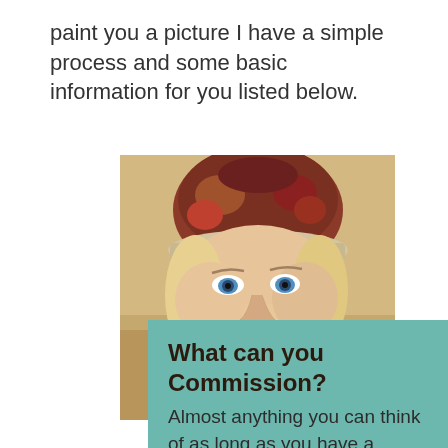paint you a picture I have a simple process and some basic information for you listed below.
[Figure (photo): Close-up painted portrait of a young blonde woman wearing a colorful knit winter hat/hood, with blue eyes, realistic oil painting style with warm tones]
What can you Commission?
Almost anything you can think of as long as you have a photo. A selfie, a